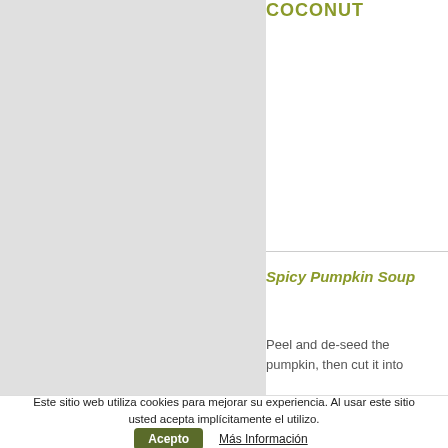[Figure (photo): Large gray rectangle placeholder image on the left side of the page]
COCONUT
Spicy Pumpkin Soup
Peel and de-seed the pumpkin, then cut it into
Este sitio web utiliza cookies para mejorar su experiencia. Al usar este sitio usted acepta implícitamente el utilizo.